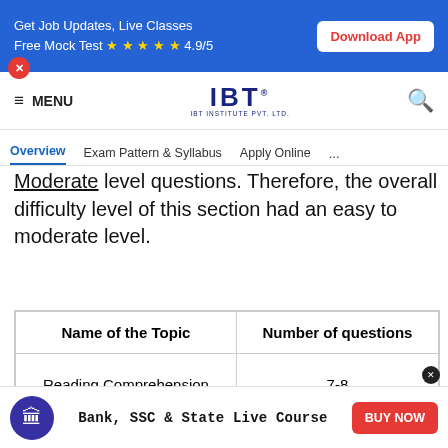[Figure (screenshot): Blue top banner with text 'Get Job Updates, Live Classes Free Mock Test ★★★★★ 4.9/5' and a 'Download App' white button]
[Figure (logo): IBT Institute Pvt Ltd logo in dark blue]
MENU  IBT  🔍
Overview  Exam Pattern & Syllabus  Apply Online  ...
Moderate level questions. Therefore, the overall difficulty level of this section had an easy to moderate level.
| Name of the Topic | Number of questions |
| --- | --- |
| Reading Comprehension | 7-8 |
Bank, SSC & State Live Course  BUY NOW